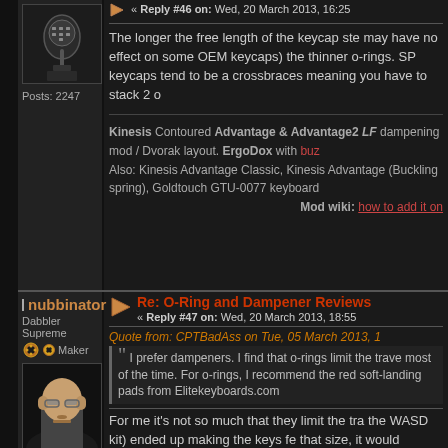[Figure (photo): Avatar image of a gear shift knob in a car interior]
Posts: 2247
« Reply #46 on: Wed, 20 March 2013, 16:25
The longer the free length of the keycap ste may have no effect on some OEM keycaps) the thinner o-rings. SP keycaps tend to be a crossbraces meaning you have to stack 2 o
Kinesis Contoured Advantage & Advantage2 LF dampening mod / Dvorak layout. ErgoDox with buz Also: Kinesis Advantage Classic, Kinesis Advantage (Buckling spring), Goldtouch GTU-0077 keyboard Mod wiki: how to add it on
nubbinator
Dabbler Supreme
Maker
[Figure (photo): Avatar photo of a young man with glasses and a mustache]
Re: O-Ring and Dampener Reviews
« Reply #47 on: Wed, 20 March 2013, 18:55
Quote from: CPTBadAss on Tue, 05 March 2013, 1
I prefer dampeners. I find that o-rings limit the trave most of the time. For o-rings, I recommend the red soft-landing pads from Elitekeyboards.com
For me it's not so much that they limit the tra the WASD kit) ended up making the keys fe that size, it would probably be fine, but the